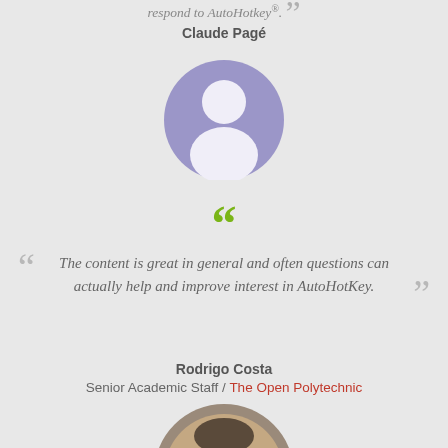respond to AutoHotkey.
Claude Pagé
[Figure (illustration): Purple circle with white silhouette of a person (placeholder avatar)]
❝ (green opening quote mark)
The content is great in general and often questions can actually help and improve interest in AutoHotKey.
Rodrigo Costa
Senior Academic Staff / The Open Polytechnic
[Figure (photo): Circular photo of a smiling man with glasses, partially cropped at bottom of page]